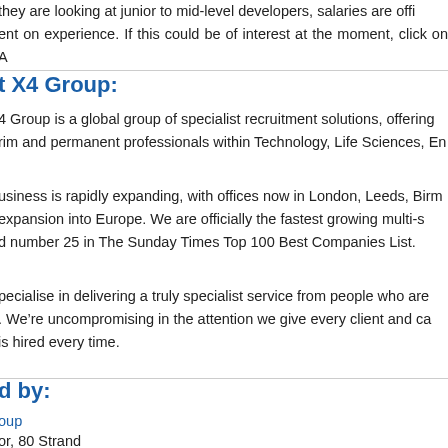they are looking at junior to mid-level developers, salaries are off ent on experience. If this could be of interest at the moment, click on A
t X4 Group:
4 Group is a global group of specialist recruitment solutions, offering rim and permanent professionals within Technology, Life Sciences, En
usiness is rapidly expanding, with offices now in London, Leeds, Birm expansion into Europe. We are officially the fastest growing multi-s d number 25 in The Sunday Times Top 100 Best Companies List.
pecialise in delivering a truly specialist service from people who are . We're uncompromising in the attention we give every client and ca is hired every time.
d by:
oup
or, 80 Strand